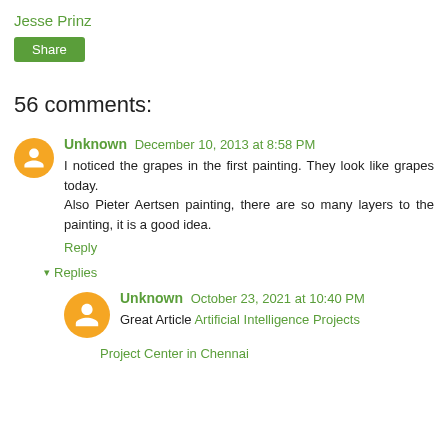Jesse Prinz
Share
56 comments:
Unknown December 10, 2013 at 8:58 PM
I noticed the grapes in the first painting. They look like grapes today.
Also Pieter Aertsen painting, there are so many layers to the painting, it is a good idea.
Reply
Replies
Unknown October 23, 2021 at 10:40 PM
Great Article Artificial Intelligence Projects
Project Center in Chennai